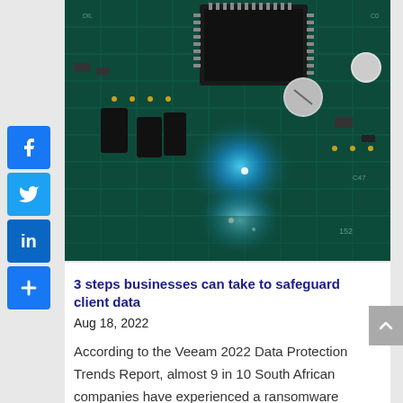[Figure (photo): Close-up photograph of a green circuit board with electronic components including capacitors, chips, and circuit traces, with blue glowing light effects]
3 steps businesses can take to safeguard client data
Aug 18, 2022
According to the Veeam 2022 Data Protection Trends Report, almost 9 in 10 South African companies have experienced a ransomware attack in the last 12 months.